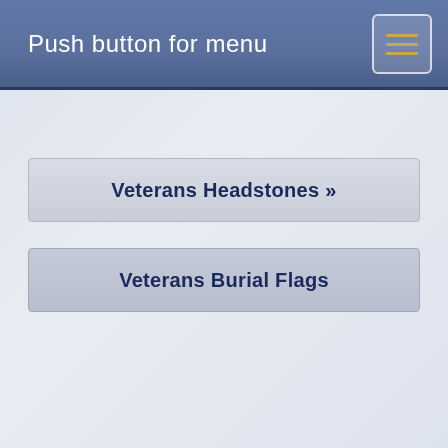Push button for menu
Veterans Headstones »
Veterans Burial Flags